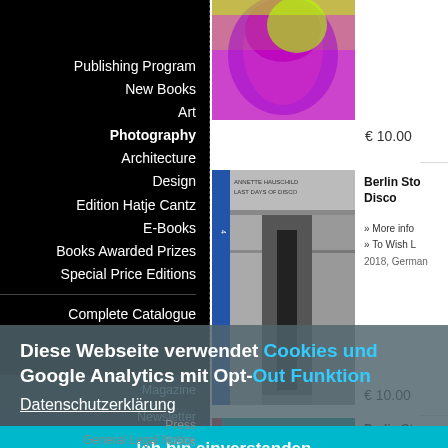Publishing Program
New Books
Art
Photography
Architecture
Design
Edition Hatje Cantz
E-Books
Books Awarded Prizes
Special Price Editions
Complete Catalogue
[Figure (photo): Book cover with colorful portrait, pink/green colors]
€ 10.00
[Figure (photo): Book cover: Annette Hauschild – Last Days of Disco, blue spine, black and white corridor photo]
Berlin Sto
Disco
» More info
» To Wish L
2018, German
€ 10.00
Magazine
Interviews
Artists & Art Dictionary
Newsletter
Contact
Press
General Legal Notice
Privacy Policy
Diese Webseite verwendet Cookies und Google Analytics mit Opt-Out Funktion
Datenschutzerklärung
Ich bin einverstanden
[Figure (photo): Book cover with pink/red abstract sculptural forms on teal background]
Berlin Sto
» More info
» To Wish L
2019, German
€ 10.00